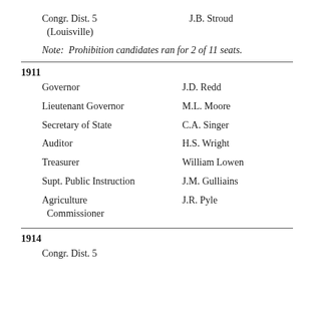Congr. Dist. 5
  (Louisville)		J.B. Stroud
Note:  Prohibition candidates ran for 2 of 11 seats.
1911
Governor		J.D. Redd
Lieutenant Governor		M.L. Moore
Secretary of State		C.A. Singer
Auditor		H.S. Wright
Treasurer		William Lowen
Supt. Public Instruction		J.M. Gulliains
Agriculture Commissioner		J.R. Pyle
1914
Congr. Dist. 5